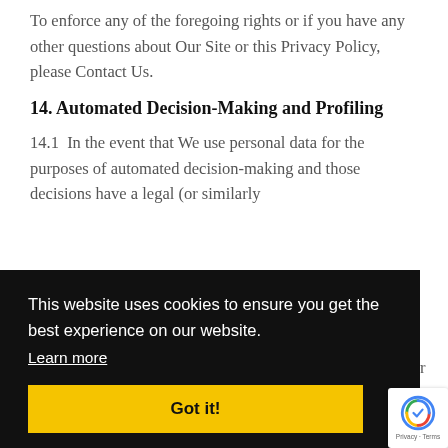To enforce any of the foregoing rights or if you have any other questions about Our Site or this Privacy Policy, please Contact Us.
14. Automated Decision-Making and Profiling
14.1  In the event that We use personal data for the purposes of automated decision-making and those decisions have a legal (or similarly
This website uses cookies to ensure you get the best experience on our website.
Learn more
Got it!